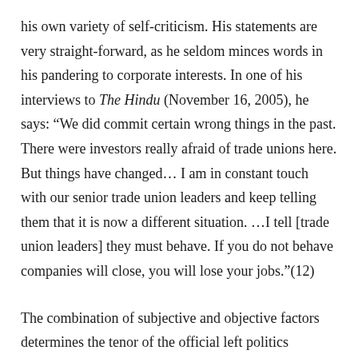his own variety of self-criticism. His statements are very straight-forward, as he seldom minces words in his pandering to corporate interests. In one of his interviews to The Hindu (November 16, 2005), he says: “We did commit certain wrong things in the past. There were investors really afraid of trade unions here. But things have changed… I am in constant touch with our senior trade union leaders and keep telling them that it is now a different situation. …I tell [trade union leaders] they must behave. If you do not behave companies will close, you will lose your jobs.”(12)
The combination of subjective and objective factors determines the tenor of the official left politics everywhere in India today. So the repression of strikers